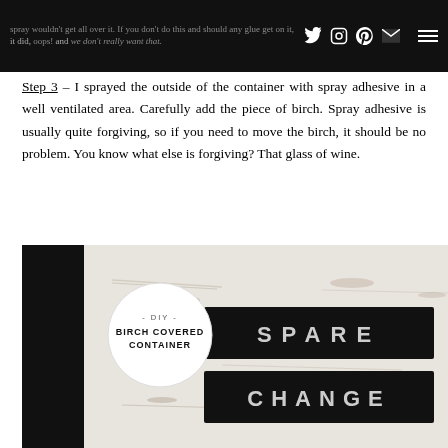spray wouldn't get all over it. If you don't do this and should any glue get on it, it did, oops! and we don't really want that.
Step 3 – I sprayed the outside of the container with spray adhesive in a well ventilated area. Carefully add the piece of birch. Spray adhesive is usually quite forgiving, so if you need to move the birch, it should be no problem. You know what else is forgiving? That glass of wine.
[Figure (photo): Photo of a birch-covered container with black label plates reading SPARE CHANGE, with a circular DIY badge overlay reading '- DIY - BIRCH COVERED CONTAINER']